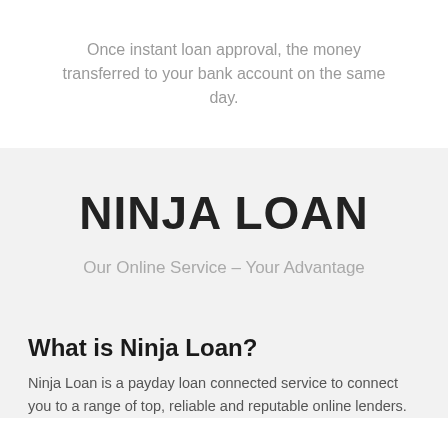Once instant loan approval, the money transferred to your bank account on the same day.
NINJA LOAN
Our Online Service – Your Advantage
What is Ninja Loan?
Ninja Loan is a payday loan connected service to connect you to a range of top, reliable and reputable online lenders.